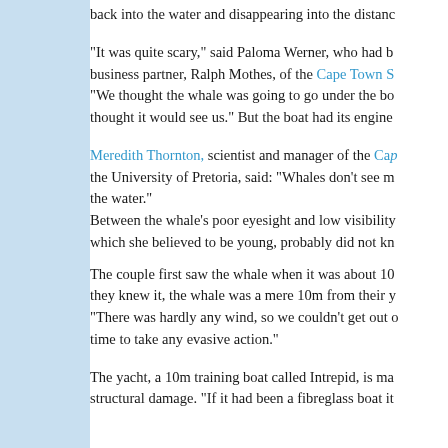back into the water and disappearing into the distance
"It was quite scary," said Paloma Werner, who had been with her business partner, Ralph Mothes, of the Cape Town S... "We thought the whale was going to go under the bo... thought it would see us." But the boat had its engine...
Meredith Thornton, scientist and manager of the Cap... the University of Pretoria, said: "Whales don't see m... the water." Between the whale's poor eyesight and low visibility which she believed to be young, probably did not kn...
The couple first saw the whale when it was about 10... they knew it, the whale was a mere 10m from their y... "There was hardly any wind, so we couldn't get out o... time to take any evasive action."
The yacht, a 10m training boat called Intrepid, is ma... structural damage. "If it had been a fibreglass boat it...